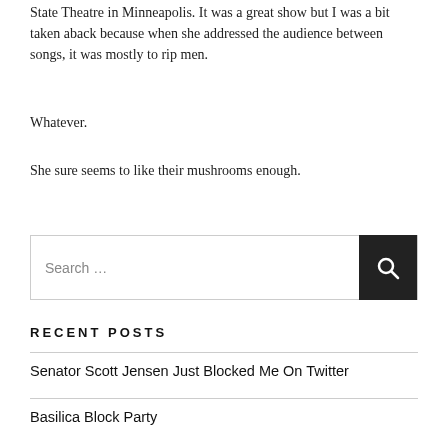State Theatre in Minneapolis. It was a great show but I was a bit taken aback because when she addressed the audience between songs, it was mostly to rip men.
Whatever.
She sure seems to like their mushrooms enough.
RECENT POSTS
Senator Scott Jensen Just Blocked Me On Twitter
Basilica Block Party